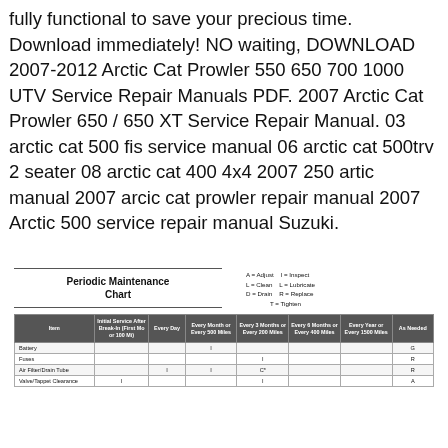fully functional to save your precious time. Download immediately! NO waiting, DOWNLOAD 2007-2012 Arctic Cat Prowler 550 650 700 1000 UTV Service Repair Manuals PDF. 2007 Arctic Cat Prowler 650 / 650 XT Service Repair Manual. 03 arctic cat 500 fis service manual 06 arctic cat 500trv 2 seater 08 arctic cat 400 4x4 2007 250 artic manual 2007 arcic cat prowler repair manual 2007 Arctic 500 service repair manual Suzuki.
| Item | Initial Service After Break-In (First Mo or 100 Mi) | Every Day | Every Month or Every 500 Miles | Every 3 Months or Every 200 Miles | Every 6 Months or Every 400 Miles | Every Year or Every 1500 Miles | As Needed |
| --- | --- | --- | --- | --- | --- | --- | --- |
| Battery |  |  | I |  |  |  | G |
| Fuses |  |  |  | I |  |  | R |
| Air Filter/Drain Tube |  | I | I | C* |  |  | R |
| Valve/Tappet Clearance | I |  |  | I |  |  | A |
Periodic Maintenance Chart